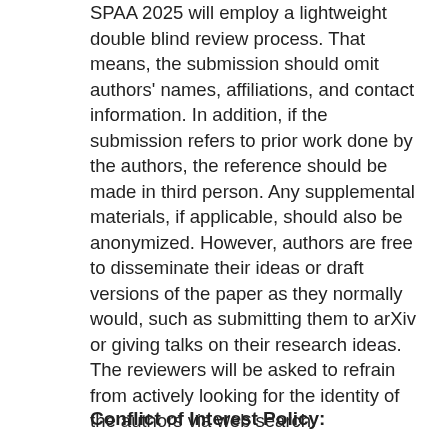SPAA 2025 will employ a lightweight double blind review process. That means, the submission should omit authors' names, affiliations, and contact information. In addition, if the submission refers to prior work done by the authors, the reference should be made in third person. Any supplemental materials, if applicable, should also be anonymized. However, authors are free to disseminate their ideas or draft versions of the paper as they normally would, such as submitting them to arXiv or giving talks on their research ideas. The reviewers will be asked to refrain from actively looking for the identity of the authors via web search.
Conflict of Interest Policy: